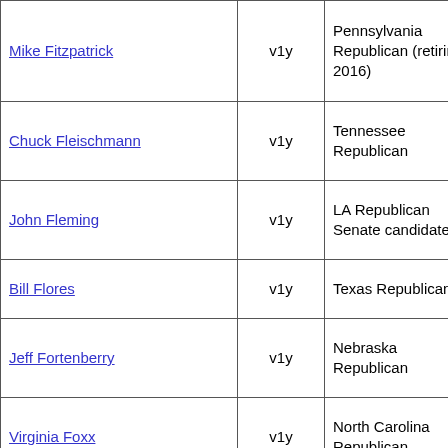| Name | Vote | State/Party |  |
| --- | --- | --- | --- |
| Mike Fitzpatrick | v1y | Pennsylvania Republican (retiring 2016) |  |
| Chuck Fleischmann | v1y | Tennessee Republican |  |
| John Fleming | v1y | LA Republican Senate candidate |  |
| Bill Flores | v1y | Texas Republican |  |
| Jeff Fortenberry | v1y | Nebraska Republican |  |
| Virginia Foxx | v1y | North Carolina Republican |  |
| Trent Franks | v1y | Arizona Republican |  |
| Rodney Frelinghuysen | v1y | New Jersey Republican |  |
| Scott Garrett | v1y | New Jersey Republican |  |
| Bob Gibbs | v1y | Ohio Republican |  |
| Chris Gibson | v1y | New York Republican (retiring 2016) |  |
| Louie Gohmert | v1y | Texas Republican |  |